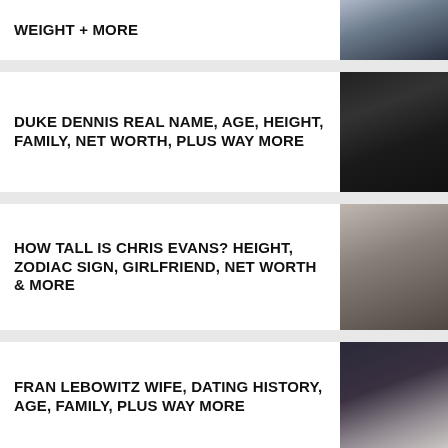WEIGHT + MORE
DUKE DENNIS REAL NAME, AGE, HEIGHT, FAMILY, NET WORTH, PLUS WAY MORE
HOW TALL IS CHRIS EVANS? HEIGHT, ZODIAC SIGN, GIRLFRIEND, NET WORTH & MORE
FRAN LEBOWITZ WIFE, DATING HISTORY, AGE, FAMILY, PLUS WAY MORE
HOW TALL IS DRACO MALFOY? HEIGHT, REAL NAME, FAMILY...